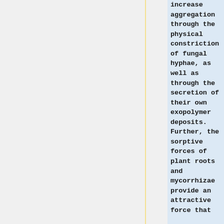increase aggregation through the physical constriction of fungal hyphae, as well as through the secretion of their own exopolymer deposits. Further, the sorptive forces of plant roots and mycorrhizae provide an attractive force that